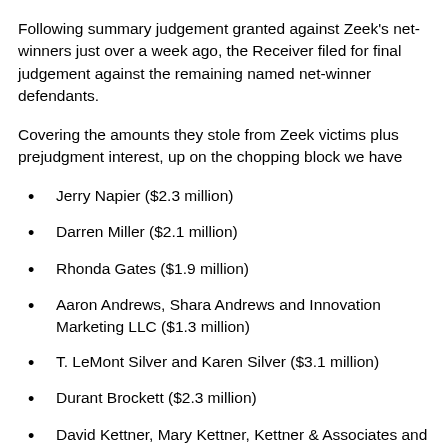Following summary judgement granted against Zeek's net-winners just over a week ago, the Receiver filed for final judgement against the remaining named net-winner defendants.
Covering the amounts they stole from Zeek victims plus prejudgment interest, up on the chopping block we have
Jerry Napier ($2.3 million)
Darren Miller ($2.1 million)
Rhonda Gates ($1.9 million)
Aaron Andrews, Shara Andrews and Innovation Marketing LLC ($1.3 million)
T. LeMont Silver and Karen Silver ($3.1 million)
Durant Brockett ($2.3 million)
David Kettner, Mary Kettner, Kettner & Associates and